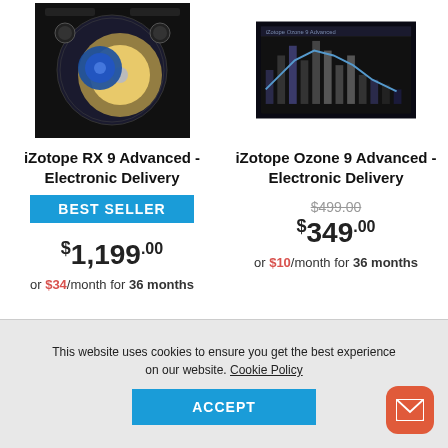[Figure (photo): iZotope RX 9 Advanced product image - dark background with film reel and blue/gold circular image]
iZotope RX 9 Advanced - Electronic Delivery
BEST SELLER
$1,199.00
or $34/month for 36 months
[Figure (screenshot): iZotope Ozone 9 Advanced product image - dark UI with equalizer/spectrum analyzer display]
iZotope Ozone 9 Advanced - Electronic Delivery
$499.00 $349.00
or $10/month for 36 months
This website uses cookies to ensure you get the best experience on our website. Cookie Policy
ACCEPT